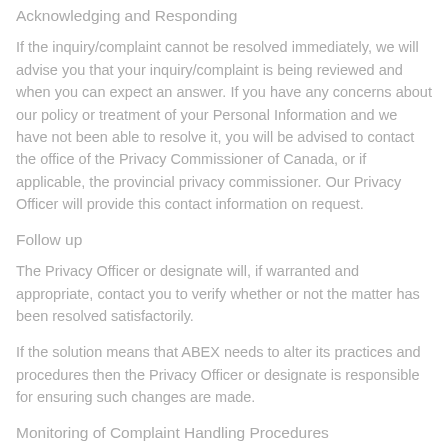Acknowledging and Responding
If the inquiry/complaint cannot be resolved immediately, we will advise you that your inquiry/complaint is being reviewed and when you can expect an answer. If you have any concerns about our policy or treatment of your Personal Information and we have not been able to resolve it, you will be advised to contact the office of the Privacy Commissioner of Canada, or if applicable, the provincial privacy commissioner. Our Privacy Officer will provide this contact information on request.
Follow up
The Privacy Officer or designate will, if warranted and appropriate, contact you to verify whether or not the matter has been resolved satisfactorily.
If the solution means that ABEX needs to alter its practices and procedures then the Privacy Officer or designate is responsible for ensuring such changes are made.
Monitoring of Complaint Handling Procedures